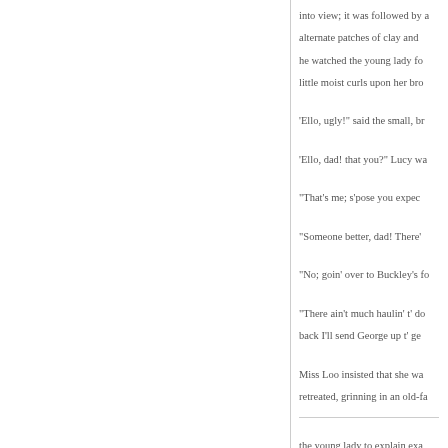into view; it was followed by a alternate patches of clay and he watched the young lady fo little moist curls upon her bro
'Ello, ugly!" said the small, br
'Ello, dad! that you?" Lucy wa
"That's me; s'pose you expec
"Someone better, dad! There'
"No; goin' over to Buckley's fo
"There ain't much haulin' t' do back I'll send George up t' ge
Miss Loo insisted that she wa retreated, grinning in an old-fa
the young lady to explain exa entertained any serious objec suitable enough for a miner's during their acquaintance, ha